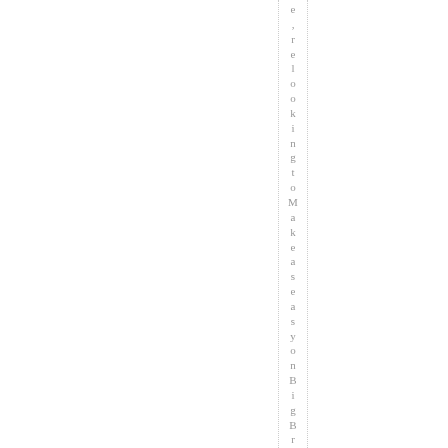e, relooking to Make as easy on BigBrown as it